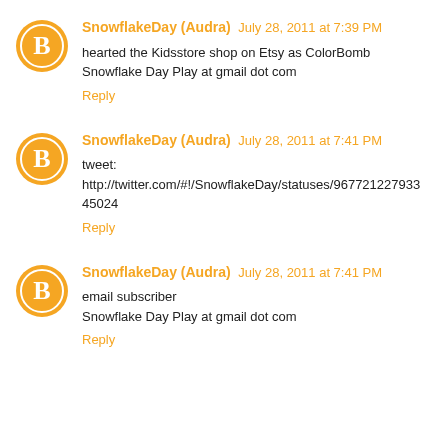SnowflakeDay (Audra) July 28, 2011 at 7:39 PM
hearted the Kidsstore shop on Etsy as ColorBomb Snowflake Day Play at gmail dot com
Reply
SnowflakeDay (Audra) July 28, 2011 at 7:41 PM
tweet: http://twitter.com/#!/SnowflakeDay/statuses/96772122793345024
Reply
SnowflakeDay (Audra) July 28, 2011 at 7:41 PM
email subscriber Snowflake Day Play at gmail dot com
Reply